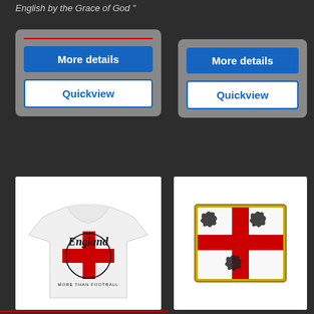English by the Grace of God "
[Figure (screenshot): Left product card with More details (blue button) and Quickview (white button with blue border) on grey rounded panel]
[Figure (screenshot): Right product card with More details (blue button) and Quickview (white button with blue border) on grey rounded panel]
[Figure (photo): White England t-shirt with St George cross and England More Than Football graphic]
[Figure (photo): England enamel badge/pin showing St George cross with three lions heraldic design on white background with gold border]